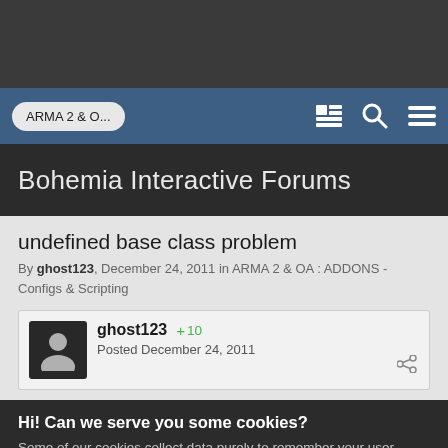ARMA 2 & O...
Bohemia Interactive Forums
undefined base class problem
By ghost123, December 24, 2011 in ARMA 2 & OA : ADDONS - Configs & Scripting
ghost123  +10
Posted December 24, 2011
Hi! Can we serve you some cookies?
Some of our cookies collect data purely to remember your user preferences on the website. In case of analytical or marketing cookies, we always collect as little data as possible to make sure we keep our